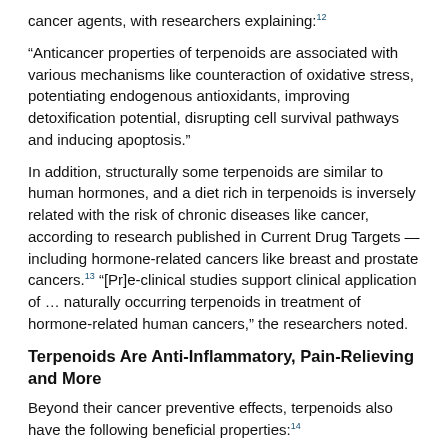cancer agents, with researchers explaining:12
“Anticancer properties of terpenoids are associated with various mechanisms like counteraction of oxidative stress, potentiating endogenous antioxidants, improving detoxification potential, disrupting cell survival pathways and inducing apoptosis.”
In addition, structurally some terpenoids are similar to human hormones, and a diet rich in terpenoids is inversely related with the risk of chronic diseases like cancer, according to research published in Current Drug Targets — including hormone-related cancers like breast and prostate cancers.13 “[Pr]e-clinical studies support clinical application of … naturally occurring terpenoids in treatment of hormone-related human cancers,” the researchers noted.
Terpenoids Are Anti-Inflammatory, Pain-Relieving and More
Beyond their cancer preventive effects, terpenoids also have the following beneficial properties:14
✓ Analgesic (pain relieving)
✓ Anti-inflammatory
✓ Antimicrobial
✓ Antifungal